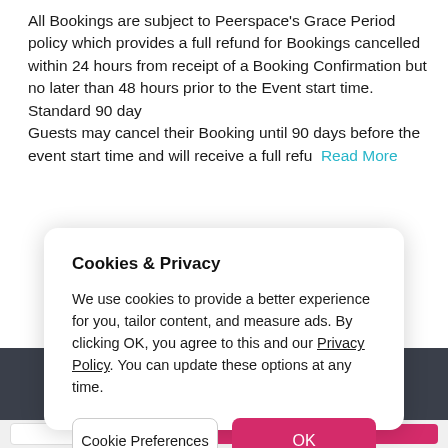All Bookings are subject to Peerspace's Grace Period policy which provides a full refund for Bookings cancelled within 24 hours from receipt of a Booking Confirmation but no later than 48 hours prior to the Event start time. Standard 90 day
Guests may cancel their Booking until 90 days before the event start time and will receive a full refu  Read More
Cookies & Privacy
We use cookies to provide a better experience for you, tailor content, and measure ads. By clicking OK, you agree to this and our Privacy Policy. You can update these options at any time.